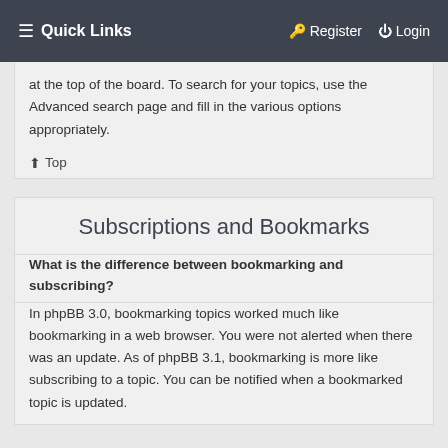☰ Quick Links    🔑 Register   ⏻ Login
at the top of the board. To search for your topics, use the Advanced search page and fill in the various options appropriately.
↑ Top
Subscriptions and Bookmarks
What is the difference between bookmarking and subscribing?
In phpBB 3.0, bookmarking topics worked much like bookmarking in a web browser. You were not alerted when there was an update. As of phpBB 3.1, bookmarking is more like subscribing to a topic. You can be notified when a bookmarked topic is updated.